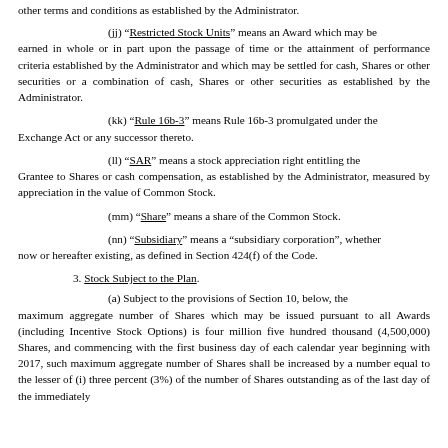other terms and conditions as established by the Administrator.
(jj) "Restricted Stock Units" means an Award which may be earned in whole or in part upon the passage of time or the attainment of performance criteria established by the Administrator and which may be settled for cash, Shares or other securities or a combination of cash, Shares or other securities as established by the Administrator.
(kk) "Rule 16b-3" means Rule 16b-3 promulgated under the Exchange Act or any successor thereto.
(ll) "SAR" means a stock appreciation right entitling the Grantee to Shares or cash compensation, as established by the Administrator, measured by appreciation in the value of Common Stock.
(mm) "Share" means a share of the Common Stock.
(nn) "Subsidiary" means a "subsidiary corporation", whether now or hereafter existing, as defined in Section 424(f) of the Code.
3. Stock Subject to the Plan.
(a) Subject to the provisions of Section 10, below, the maximum aggregate number of Shares which may be issued pursuant to all Awards (including Incentive Stock Options) is four million five hundred thousand (4,500,000) Shares, and commencing with the first business day of each calendar year beginning with 2017, such maximum aggregate number of Shares shall be increased by a number equal to the lesser of (i) three percent (3%) of the number of Shares outstanding as of the last day of the immediately